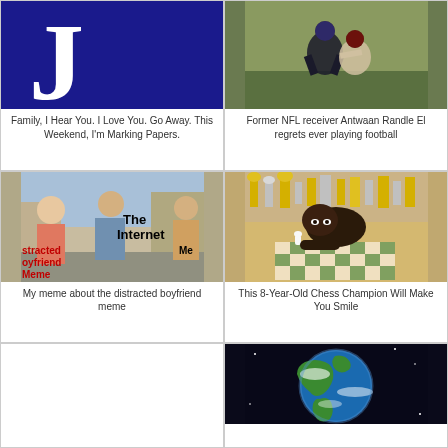[Figure (photo): Purple/dark blue background with large white letter J logo]
Family, I Hear You. I Love You. Go Away. This Weekend, I'm Marking Papers.
[Figure (photo): NFL football players in action on the field]
Former NFL receiver Antwaan Randle El regrets ever playing football
[Figure (photo): Distracted boyfriend meme with text overlays: 'The Internet', 'Me', 'stracted oyfriend Meme']
My meme about the distracted boyfriend meme
[Figure (photo): Young Black chess player concentrating at a chess board with trophies in background]
This 8-Year-Old Chess Champion Will Make You Smile
[Figure (photo): Blank / white area]
[Figure (photo): Photo of Earth from space showing North and South America]